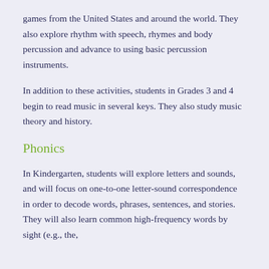games from the United States and around the world. They also explore rhythm with speech, rhymes and body percussion and advance to using basic percussion instruments.
In addition to these activities, students in Grades 3 and 4 begin to read music in several keys. They also study music theory and history.
Phonics
In Kindergarten, students will explore letters and sounds, and will focus on one-to-one letter-sound correspondence in order to decode words, phrases, sentences, and stories. They will also learn common high-frequency words by sight (e.g., the,